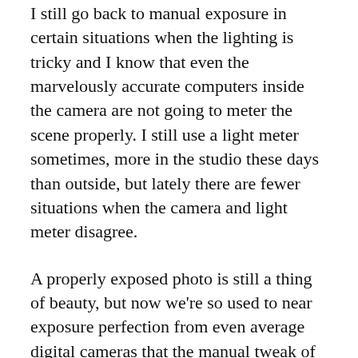I still go back to manual exposure in certain situations when the lighting is tricky and I know that even the marvelously accurate computers inside the camera are not going to meter the scene properly. I still use a light meter sometimes, more in the studio these days than outside, but lately there are fewer situations when the camera and light meter disagree.
A properly exposed photo is still a thing of beauty, but now we're so used to near exposure perfection from even average digital cameras that the manual tweak of imperfection is becoming a statement in its own right.
The...